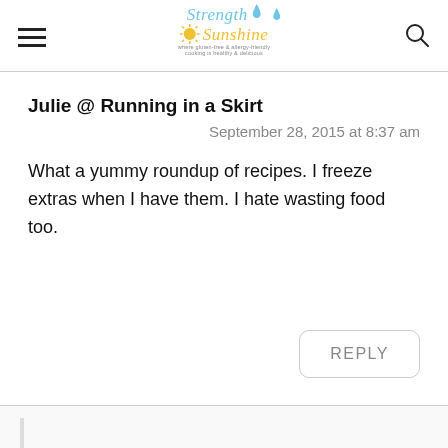Strength & Sunshine — site logo and navigation
Julie @ Running in a Skirt
September 28, 2015 at 8:37 am
What a yummy roundup of recipes. I freeze extras when I have them. I hate wasting food too.
REPLY